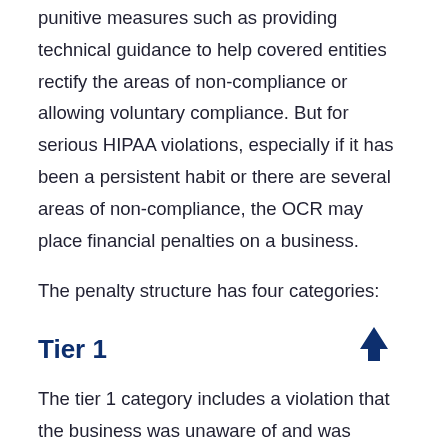punitive measures such as providing technical guidance to help covered entities rectify the areas of non-compliance or allowing voluntary compliance. But for serious HIPAA violations, especially if it has been a persistent habit or there are several areas of non-compliance, the OCR may place financial penalties on a business.
The penalty structure has four categories:
Tier 1
The tier 1 category includes a violation that the business was unaware of and was